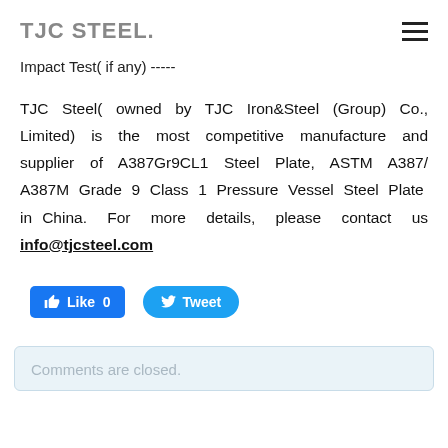TJC STEEL.
Impact Test( if any) -----
TJC Steel( owned by TJC Iron&Steel (Group) Co., Limited) is the most competitive manufacture and supplier of A387Gr9CL1 Steel Plate, ASTM A387/A387M Grade 9 Class 1 Pressure Vessel Steel Plate in China. For more details, please contact us info@tjcsteel.com
[Figure (other): Social media buttons: Facebook Like 0 button and Twitter Tweet button]
Comments are closed.